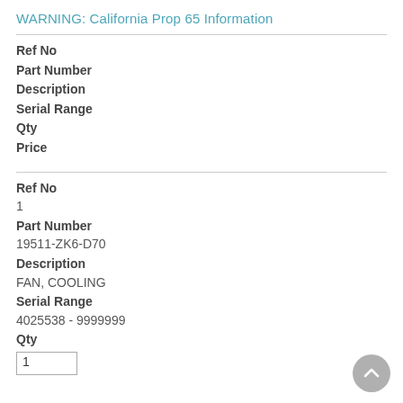WARNING: California Prop 65 Information
Ref No
Part Number
Description
Serial Range
Qty
Price
Ref No
1
Part Number
19511-ZK6-D70
Description
FAN, COOLING
Serial Range
4025538 - 9999999
Qty
1